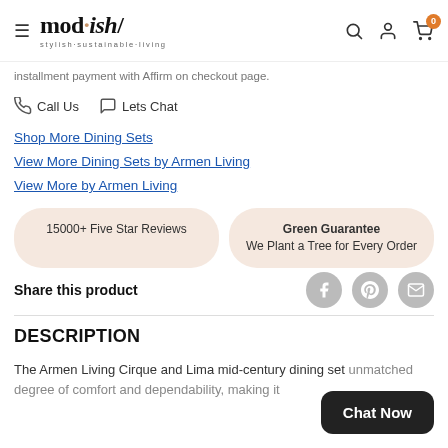mod·ish/ stylish·sustainable·living — navigation header with search, account, and cart icons
installment payment with Affirm on checkout page.
📞 Call Us   💬 Lets Chat
Shop More Dining Sets
View More Dining Sets by Armen Living
View More by Armen Living
15000+ Five Star Reviews
Green Guarantee
We Plant a Tree for Every Order
Share this product
DESCRIPTION
The Armen Living Cirque and Lima mid-century dining set unmatched degree of comfort and dependability, making it